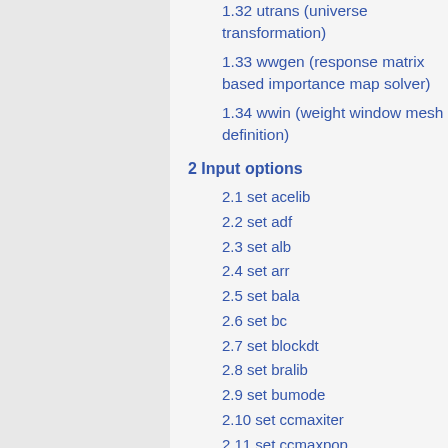1.32 utrans (universe transformation)
1.33 wwgen (response matrix based importance map solver)
1.34 wwin (weight window mesh definition)
2 Input options
2.1 set acelib
2.2 set adf
2.3 set alb
2.4 set arr
2.5 set bala
2.6 set bc
2.7 set blockdt
2.8 set bralib
2.9 set bumode
2.10 set ccmaxiter
2.11 set ccmaxpop
2.12 set cfe
2.13 set cmm
2.14 set ...